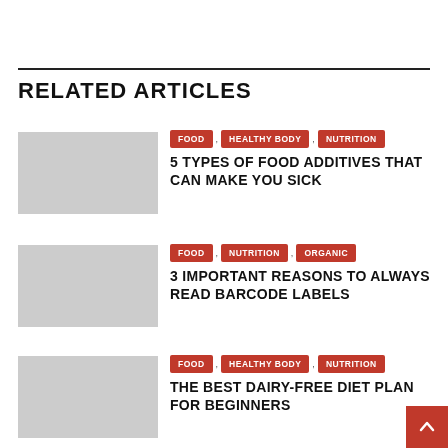RELATED ARTICLES
FOOD , HEALTHY BODY , NUTRITION — 5 TYPES OF FOOD ADDITIVES THAT CAN MAKE YOU SICK
FOOD , NUTRITION , ORGANIC — 3 IMPORTANT REASONS TO ALWAYS READ BARCODE LABELS
FOOD , HEALTHY BODY , NUTRITION — THE BEST DAIRY-FREE DIET PLAN FOR BEGINNERS